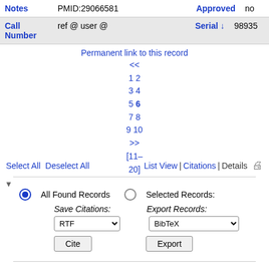| Notes | PMID:29066581 | Approved | no |
| --- | --- | --- | --- |
| Call Number | ref @ user @ | Serial ↓ | 98935 |
Permanent link to this record
<< 1 2 3 4 5 6 7 8 9 10 >> [11–20]
Select All  Deselect All  List View | Citations | Details
All Found Records  Selected Records:
Save Citations: RTF  Export Records: BibTeX
Cite  Export
Home  Library Search | Show Record | Extract Citations  Help